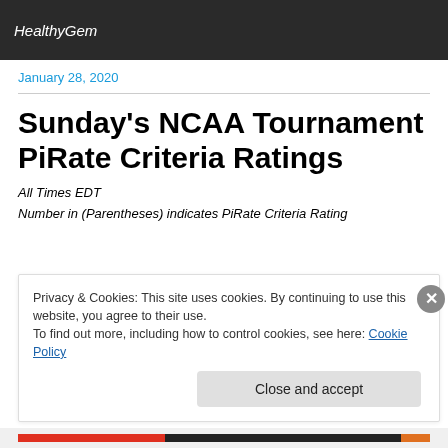HealthyGem
January 28, 2020
Sunday's NCAA Tournament PiRate Criteria Ratings
All Times EDT
Number in (Parentheses) indicates PiRate Criteria Rating
Privacy & Cookies: This site uses cookies. By continuing to use this website, you agree to their use.
To find out more, including how to control cookies, see here: Cookie Policy
Close and accept